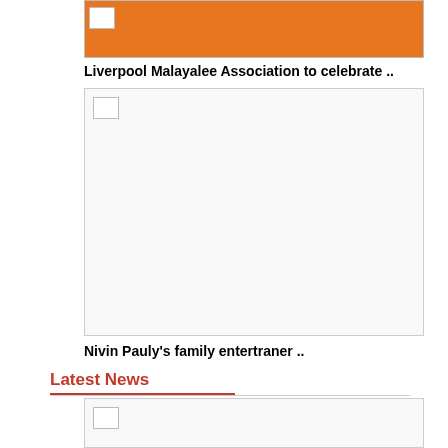[Figure (photo): Orange banner image with Malayalam text, top of page]
Liverpool Malayalee Association to celebrate ..
[Figure (photo): Broken/missing image placeholder, white rectangle with border]
Nivin Pauly’s family entertraner ..
Latest News
[Figure (photo): Broken/missing image placeholder, white rectangle with border, latest news section]